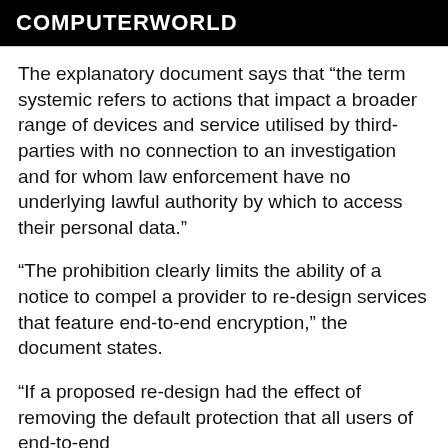COMPUTERWORLD
The explanatory document says that “the term systemic refers to actions that impact a broader range of devices and service utilised by third-parties with no connection to an investigation and for whom law enforcement have no underlying lawful authority by which to access their personal data.”
“The prohibition clearly limits the ability of a notice to compel a provider to re-design services that feature end-to-end encryption,” the document states.
“If a proposed re-design had the effect of removing the default protection that all users of end-to-end